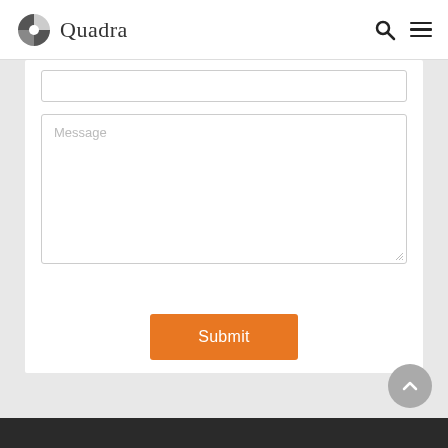Quadra
[Figure (screenshot): Contact form with a text input field at top (partially visible), a large Message textarea with placeholder text, and an orange Submit button centered below.]